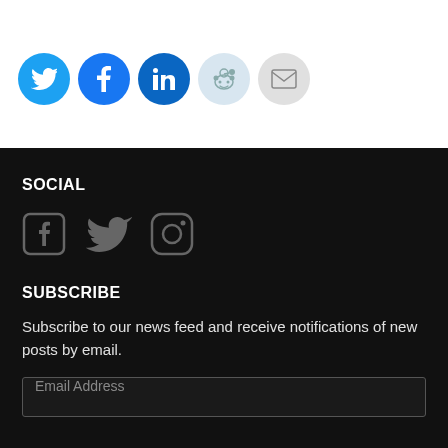[Figure (illustration): Row of five circular social share icons: Twitter (blue bird), Facebook (blue F), LinkedIn (blue in), Reddit (light blue alien mascot), Email (grey envelope)]
SOCIAL
[Figure (illustration): Three grey social media icons: Facebook, Twitter bird, Instagram camera]
SUBSCRIBE
Subscribe to our news feed and receive notifications of new posts by email.
Email Address